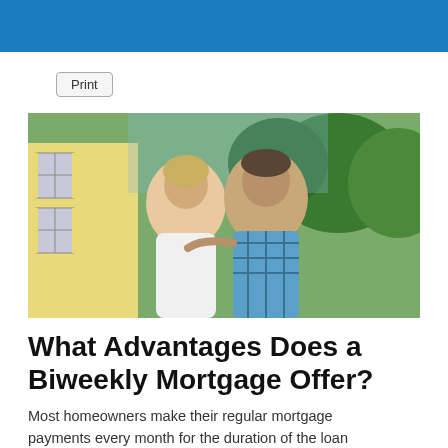[Figure (photo): A smiling middle-aged couple standing outdoors in front of a yellow house with green trees in the background. The woman wears a white top and the man wears a blue plaid shirt.]
What Advantages Does a Biweekly Mortgage Offer?
Most homeowners make their regular mortgage payments every month for the duration of the loan term, and never think of doing otherwise. But...